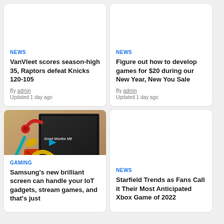[Figure (other): Article card top image area (blank/white) for VanVleet sports article]
NEWS
VanVleet scores season-high 35, Raptors defeat Knicks 120-105
By admin
Updated 1 day ago
[Figure (other): Article card top image area (blank/white) for game development article]
NEWS
Figure out how to develop games for $20 during our New Year, New You Sale
By admin
Updated 1 day ago
[Figure (photo): Samsung Smart Monitor M8 with colorful gaming peripherals - red headphones, game controller, stylus on warm brown background]
GAMING
Samsung's new brilliant screen can handle your IoT gadgets, stream games, and that's just...
[Figure (other): Article card top image area (blank/white) for Starfield article]
NEWS
Starfield Trends as Fans Call it Their Most Anticipated Xbox Game of 2022